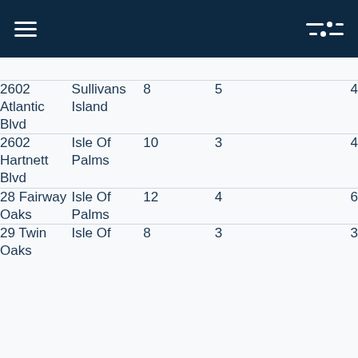Navigation header with menu and filter icons
| Address | City | Col3 | Col4 | Col5 |
| --- | --- | --- | --- | --- |
| 2602 Atlantic Blvd | Sullivans Island | 8 | 5 | 4 |
| 2602 Hartnett Blvd | Isle Of Palms | 10 | 3 | 4 |
| 28 Fairway Oaks | Isle Of Palms | 12 | 4 | 6 |
| 29 Twin Oaks | Isle Of | 8 | 3 | 3 |